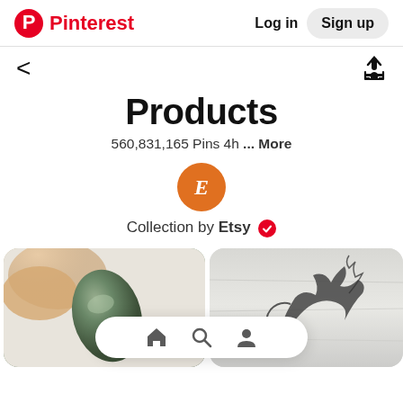Pinterest  Log in  Sign up
Products
560,831,165 Pins 4h ... More
[Figure (illustration): Orange circle avatar with letter E (Etsy logo style)]
Collection by Etsy ✓
[Figure (photo): Two product photos side by side: left shows a dark green stone/crystal held by fingers, right shows a black dragon/phoenix laser-cut design on light wood background]
[Figure (screenshot): Bottom navigation bar with home, search, and profile icons]